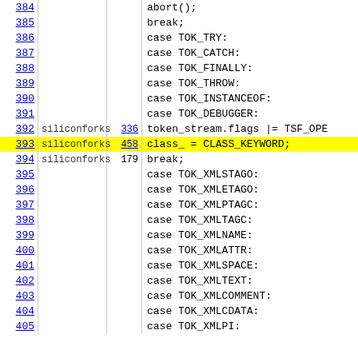| Line | Author | Rev | Code |
| --- | --- | --- | --- |
| 384 |  |  |         abort(); |
| 385 |  |  |         break; |
| 386 |  |  |       case TOK_TRY: |
| 387 |  |  |       case TOK_CATCH: |
| 388 |  |  |       case TOK_FINALLY: |
| 389 |  |  |       case TOK_THROW: |
| 390 |  |  |       case TOK_INSTANCEOF: |
| 391 |  |  |       case TOK_DEBUGGER: |
| 392 | siliconforks | 336 |         token_stream.flags |= TSF_OPE |
| 393 | siliconforks | 458 |         class_ = CLASS_KEYWORD; |
| 394 | siliconforks | 179 |         break; |
| 395 |  |  |       case TOK_XMLSTAGO: |
| 396 |  |  |       case TOK_XMLETAGO: |
| 397 |  |  |       case TOK_XMLPTAGC: |
| 398 |  |  |       case TOK_XMLTAGC: |
| 399 |  |  |       case TOK_XMLNAME: |
| 400 |  |  |       case TOK_XMLATTR: |
| 401 |  |  |       case TOK_XMLSPACE: |
| 402 |  |  |       case TOK_XMLTEXT: |
| 403 |  |  |       case TOK_XMLCOMMENT: |
| 404 |  |  |       case TOK_XMLCDATA: |
| 405 |  |  |       case TOK_XMLPI: |